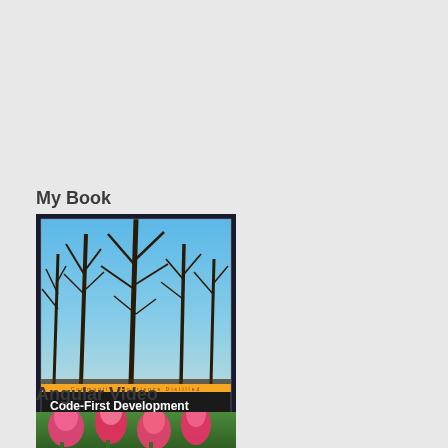My Book
[Figure (photo): Book cover of 'Code-First Development with Entity Framework' by Sergey Barskiy, published by Packt. Cover shows bare trees against a blue sky. Subtitle: 'Take your data access skills to the next level with Entity Framework'.]
Angular Video
[Figure (photo): Photo of pink tulips, partially visible at bottom of page, likely a video thumbnail.]